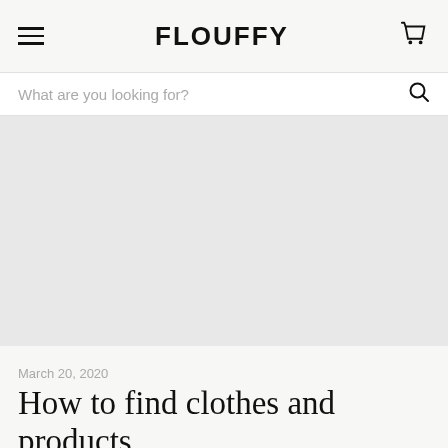FLOUFFY
What are you looking for?
[Figure (photo): Large light grey hero image placeholder area]
March 20, 2020
How to find clothes and products